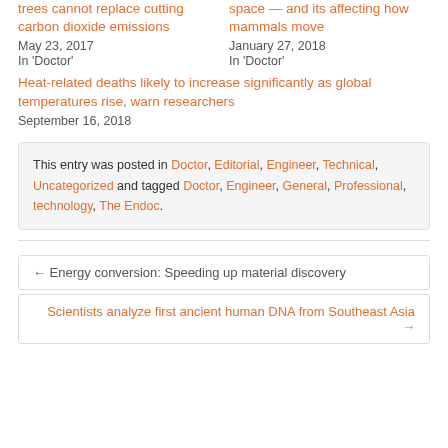trees cannot replace cutting carbon dioxide emissions
May 23, 2017
In 'Doctor'
space — and its affecting how mammals move
January 27, 2018
In 'Doctor'
Heat-related deaths likely to increase significantly as global temperatures rise, warn researchers
September 16, 2018
This entry was posted in Doctor, Editorial, Engineer, Technical, Uncategorized and tagged Doctor, Engineer, General, Professional, technology, The Endoc.
← Energy conversion: Speeding up material discovery
Scientists analyze first ancient human DNA from Southeast Asia →